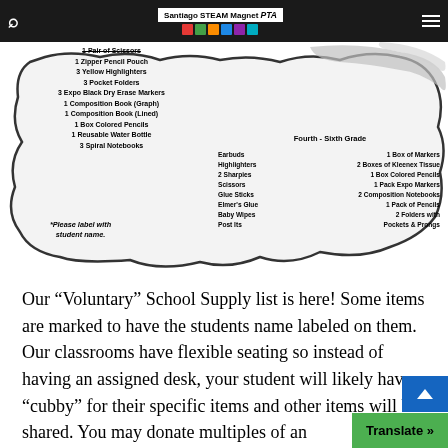Santiago STEAM Magnet PTA
[Figure (illustration): School supply list graphic with pencil/blob shape showing supply items for multiple grade levels. Left column lists general supplies including scissors, pencil pouch, highlighters, folders, dry erase markers, composition books, colored pencils, water bottle, spiral notebooks. Right section labeled 'Fourth - Sixth Grade' with two columns listing earbuds, highlighters, sharpies, scissors, glue sticks, Elmer's glue, baby wipes, post its (left) and 1 box of markers, 2 boxes of Kleenex tissue, 1 box colored pencils, 1 pack expo markers, 2 composition notebooks, 1 pack of pencils, 2 folders with pockets & prongs (right). Bottom left note: *Please label with student name.]
Our “Voluntary” School Supply list is here!  Some items are marked to have the students name labeled on them.  Our classrooms have flexible seating so instead of having an assigned desk,  your student will likely have a “cubby” for their specific items and other items will be shared.  You may donate multiples of an